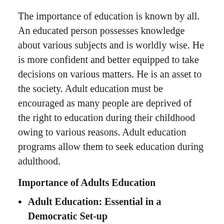The importance of education is known by all. An educated person possesses knowledge about various subjects and is worldly wise. He is more confident and better equipped to take decisions on various matters. He is an asset to the society. Adult education must be encouraged as many people are deprived of the right to education during their childhood owing to various reasons. Adult education programs allow them to seek education during adulthood.
Importance of Adults Education
Adult Education: Essential in a Democratic Set-up
In democratic nations such as India, the adults are